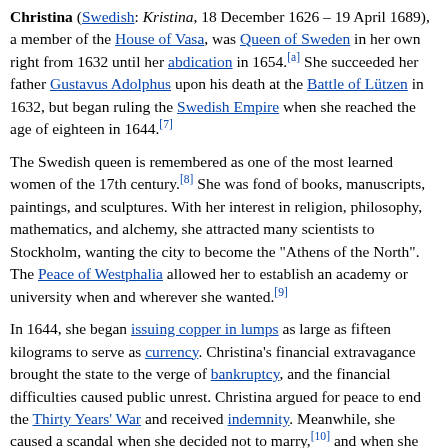Christina (Swedish: Kristina, 18 December 1626 – 19 April 1689), a member of the House of Vasa, was Queen of Sweden in her own right from 1632 until her abdication in 1654.[a] She succeeded her father Gustavus Adolphus upon his death at the Battle of Lützen in 1632, but began ruling the Swedish Empire when she reached the age of eighteen in 1644.[7]
The Swedish queen is remembered as one of the most learned women of the 17th century.[8] She was fond of books, manuscripts, paintings, and sculptures. With her interest in religion, philosophy, mathematics, and alchemy, she attracted many scientists to Stockholm, wanting the city to become the "Athens of the North". The Peace of Westphalia allowed her to establish an academy or university when and wherever she wanted.[9]
In 1644, she began issuing copper in lumps as large as fifteen kilograms to serve as currency. Christina's financial extravagance brought the state to the verge of bankruptcy, and the financial difficulties caused public unrest. Christina argued for peace to end the Thirty Years' War and received indemnity. Meanwhile, she caused a scandal when she decided not to marry,[10] and when she converted to Catholicism secretly in Brussels and publicly in Innsbruck. The "Minerva of the North" relinquished the throne to her cousin, and settled in Rome.[11]